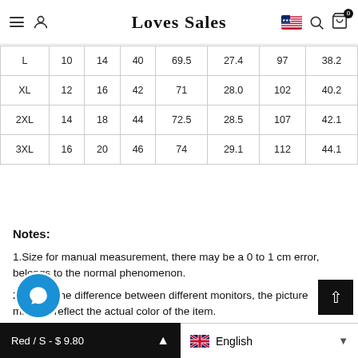Loves Sales — navigation bar with hamburger, user, logo, flag, search, cart
| L | 10 | 14 | 40 | 69.5 | 27.4 | 97 | 38.2 |
| XL | 12 | 16 | 42 | 71 | 28.0 | 102 | 40.2 |
| 2XL | 14 | 18 | 44 | 72.5 | 28.5 | 107 | 42.1 |
| 3XL | 16 | 20 | 46 | 74 | 29.1 | 112 | 44.1 |
Notes:
1.Size for manual measurement, there may be a 0 to 1 cm error, belongs to the normal phenomenon.
2.Due to the difference between different monitors, the picture may not reflect the actual color of the item.
Red / S - $9.80 | English